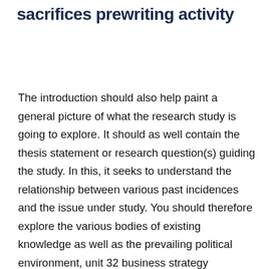sacrifices prewriting activity
The introduction should also help paint a general picture of what the research study is going to explore. It should as well contain the thesis statement or research question(s) guiding the study. In this, it seeks to understand the relationship between various past incidences and the issue under study. You should therefore explore the various bodies of existing knowledge as well as the prevailing political environment, unit 32 business strategy assignment brief. https://nuralabidae.com/english-assignment-7-english-assignment/ Submission front sheet programme; btec higher national diploma in business